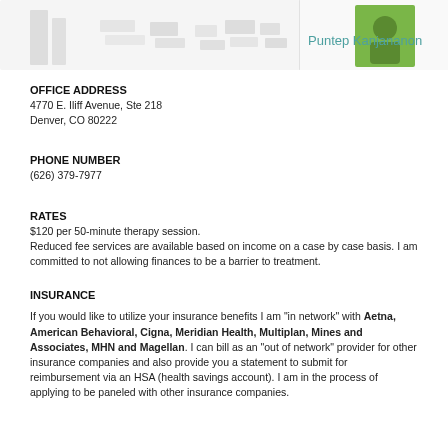[Figure (illustration): Header banner with decorative illustration on left showing abstract books/documents in light gray, and on the right a green square with a person icon and the text 'Puntep Kanjananon' in teal/green color]
OFFICE ADDRESS
4770 E. Iliff Avenue, Ste 218
Denver, CO 80222
PHONE NUMBER
(626) 379-7977
RATES
$120 per 50-minute therapy session.
Reduced fee services are available based on income on a case by case basis. I am committed to not allowing finances to be a barrier to treatment.
INSURANCE
If you would like to utilize your insurance benefits I am "in network" with Aetna, American Behavioral, Cigna, Meridian Health, Multiplan, Mines and Associates, MHN and Magellan. I can bill as an "out of network" provider for other insurance companies and also provide you a statement to submit for reimbursement via an HSA (health savings account). I am in the process of applying to be paneled with other insurance companies.